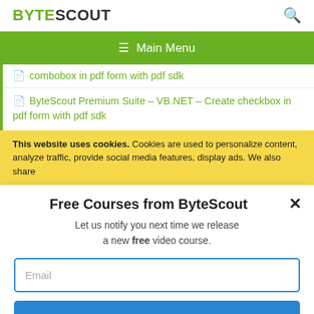BYTESCOUT
Main Menu
combobox in pdf form with pdf sdk
ByteScout Premium Suite – VB.NET – Create checkbox in pdf form with pdf sdk
This website uses cookies. Cookies are used to personalize content, analyze traffic, provide social media features, display ads. We also share
Free Courses from ByteScout
Let us notify you next time we release a new free video course.
Email
SUBSCRIBE